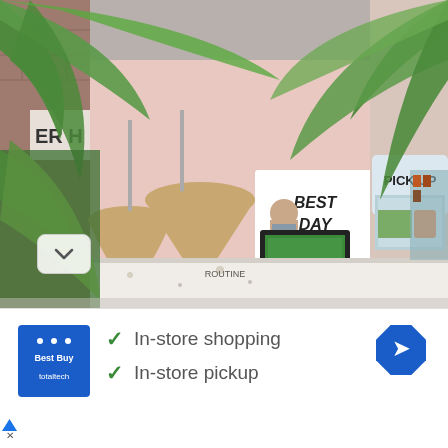[Figure (photo): Interior of a modern cafe/coffee shop with pink walls, hanging wicker pendant lights, tropical palm plants, a barista working behind a coffee machine, a 'BEST DAY EVER!' sign on the wall, and a 'PICK UP' sign on the right column. The scene is framed through palm fronds in the foreground.]
[Figure (logo): Blue square logo with white text reading 'Best Buy totaltech']
In-store shopping
In-store pickup
[Figure (other): Blue diamond-shaped navigation/directions icon (turn right arrow)]